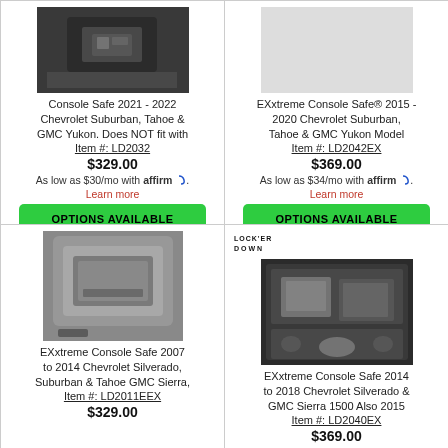[Figure (photo): Console safe product photo showing dark interior console]
Console Safe 2021 - 2022 Chevrolet Suburban, Tahoe & GMC Yukon. Does NOT fit with
Item #: LD2032
$329.00
As low as $30/mo with affirm. Learn more
OPTIONS AVAILABLE
[Figure (photo): EXxtreme Console Safe product photo]
EXxtreme Console Safe® 2015 - 2020 Chevrolet Suburban, Tahoe & GMC Yukon Model
Item #: LD2042EX
$369.00
As low as $34/mo with affirm. Learn more
OPTIONS AVAILABLE
[Figure (photo): Console safe in gray plastic tray product photo]
EXxtreme Console Safe 2007 to 2014 Chevrolet Silverado, Suburban & Tahoe GMC Sierra,
Item #: LD2011EEX
$329.00
[Figure (photo): EXxtreme Console Safe with Locker Down logo, dark interior photo]
EXxtreme Console Safe 2014 to 2018 Chevrolet Silverado & GMC Sierra 1500 Also 2015
Item #: LD2040EX
$369.00